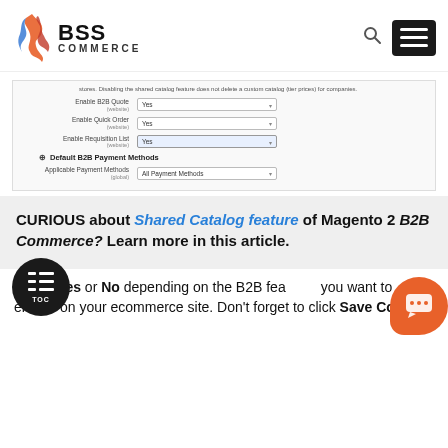BSS COMMERCE
[Figure (screenshot): Magento B2B admin configuration panel showing Enable B2B Quote (Yes), Enable Quick Order (Yes), Enable Requisition List (Yes) dropdowns, Default B2B Payment Methods section, and Applicable Payment Methods (All Payment Methods) dropdown.]
CURIOUS about Shared Catalog feature of Magento 2 B2B Commerce? Learn more in this article.
Select Yes or No depending on the B2B features you want to enable on your ecommerce site. Don't forget to click Save Config